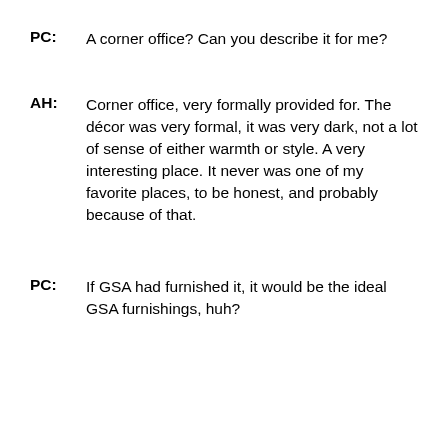PC:    A corner office? Can you describe it for me?
AH:    Corner office, very formally provided for. The décor was very formal, it was very dark, not a lot of sense of either warmth or style. A very interesting place. It never was one of my favorite places, to be honest, and probably because of that.
PC:    If GSA had furnished it, it would be the ideal GSA furnishings, huh?